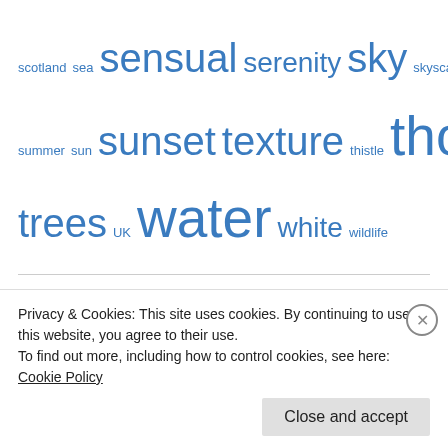[Figure (other): Tag cloud with words of varying sizes in blue: scotland, sea, sensual, serenity, sky, skyscape, soft, street, summer, sun, sunset, texture, thistle, thoughts, travel, trees, UK, water, white, wildlife]
Categories
Select Category
Recent Posts
Privacy & Cookies: This site uses cookies. By continuing to use this website, you agree to their use.
To find out more, including how to control cookies, see here: Cookie Policy
Close and accept